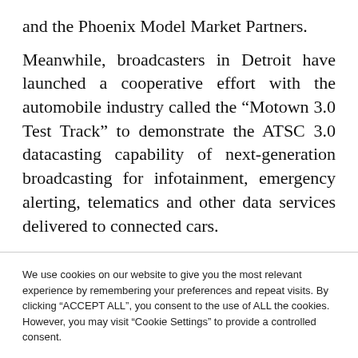and the Phoenix Model Market Partners.
Meanwhile, broadcasters in Detroit have launched a cooperative effort with the automobile industry called the “Motown 3.0 Test Track” to demonstrate the ATSC 3.0 datacasting capability of next-generation broadcasting for infotainment, emergency alerting, telematics and other data services delivered to connected cars.
We use cookies on our website to give you the most relevant experience by remembering your preferences and repeat visits. By clicking “ACCEPT ALL”, you consent to the use of ALL the cookies. However, you may visit “Cookie Settings” to provide a controlled consent.
Cookie Settings   REJECT ALL   ACCEPT ALL